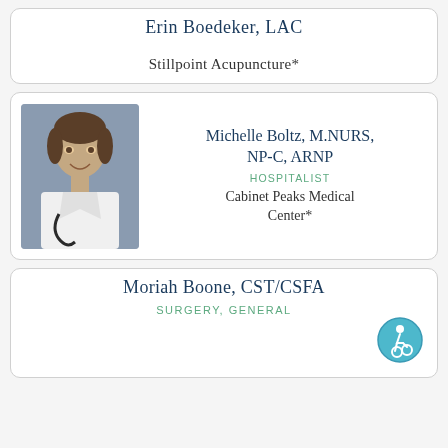Erin Boedeker, LAC
Stillpoint Acupuncture*
[Figure (photo): Headshot photo of Michelle Boltz, a woman in a white coat with a stethoscope]
Michelle Boltz, M.NURS, NP-C, ARNP
HOSPITALIST
Cabinet Peaks Medical Center*
Moriah Boone, CST/CSFA
SURGERY, GENERAL